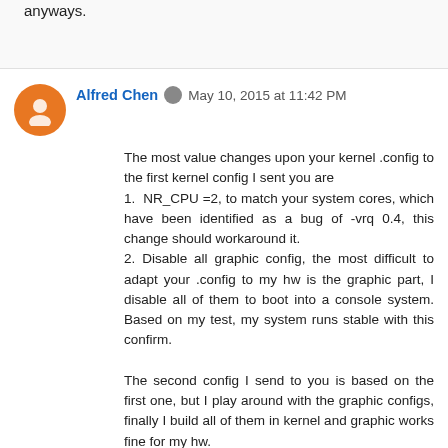anyways.
Alfred Chen  May 10, 2015 at 11:42 PM
The most value changes upon your kernel .config to the first kernel config I sent you are
1.  NR_CPU =2, to match your system cores, which have been identified as a bug of -vrq 0.4, this change should workaround it.
2. Disable all graphic config, the most difficult to adapt your .config to my hw is the graphic part, I disable all of them to boot into a console system. Based on my test, my system runs stable with this confirm.

The second config I send to you is based on the first one, but I play around with the graphic configs, finally I build all of them in kernel and graphic works fine for my hw.

All these are test on my hw, if the first one work fine for your hw but the second doesn't, I think it